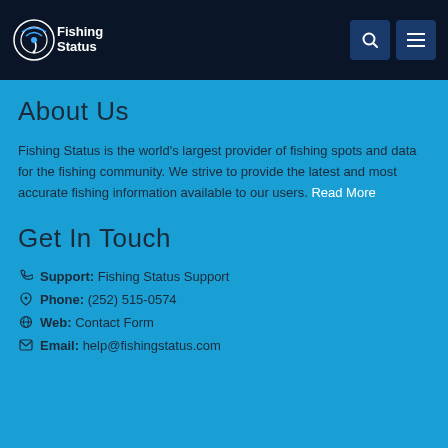[Figure (logo): Fishing Status logo — circular wifi/fish icon with text 'Fishing Status' on dark navy background header]
About Us
Fishing Status is the world's largest provider of fishing spots and data for the fishing community. We strive to provide the latest and most accurate fishing information available to our users. Read More
Get In Touch
Support: Fishing Status Support
Phone: (252) 515-0574
Web: Contact Form
Email: help@fishingstatus.com